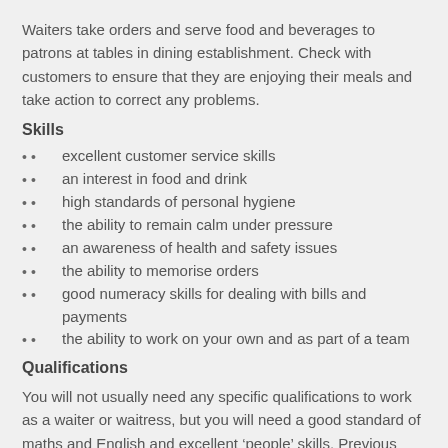Waiters take orders and serve food and beverages to patrons at tables in dining establishment. Check with customers to ensure that they are enjoying their meals and take action to correct any problems.
Skills
excellent customer service skills
an interest in food and drink
high standards of personal hygiene
the ability to remain calm under pressure
an awareness of health and safety issues
the ability to memorise orders
good numeracy skills for dealing with bills and payments
the ability to work on your own and as part of a team
Qualifications
You will not usually need any specific qualifications to work as a waiter or waitress, but you will need a good standard of maths and English and excellent ‘people’ skills. Previous experience of customer service would also give you an advantage.
Known as one of the more modern and picturesque places in Manchester, our branch in the Salford Quays is but one of many unique and flourishing businesses in the media-orientated section of Greater